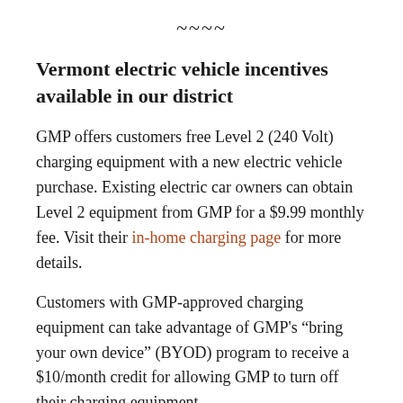~~~~
Vermont electric vehicle incentives available in our district
GMP offers customers free Level 2 (240 Volt) charging equipment with a new electric vehicle purchase. Existing electric car owners can obtain Level 2 equipment from GMP for a $9.99 monthly fee. Visit their in-home charging page for more details.
Customers with GMP-approved charging equipment can take advantage of GMP’s “bring your own device” (BYOD) program to receive a $10/month credit for allowing GMP to turn off their charging equipment